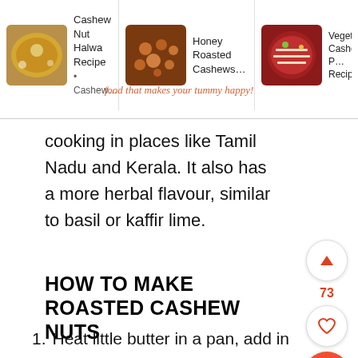[Figure (screenshot): Navigation header bar with three recipe card thumbnails: Cashew Nut Halwa Recipe, Honey Roasted Cashews, and Vegetable Cashew Pulao Recipe]
food that makes your tummy happy!
cooking in places like Tamil Nadu and Kerala. It also has a more herbal flavour, similar to basil or kaffir lime.
HOW TO MAKE ROASTED CASHEW NUTS
Heat little butter in a pan, add in cashews and toast it till golden. This has to be done on a low heat. It will take around 10 mins.
Now add in curry leaves and cook till it